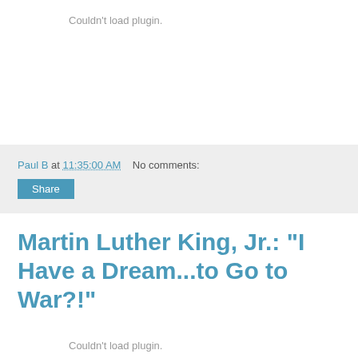Couldn't load plugin.
Paul B at 11:35:00 AM   No comments:
Share
Martin Luther King, Jr.: "I Have a Dream...to Go to War?!"
Couldn't load plugin.